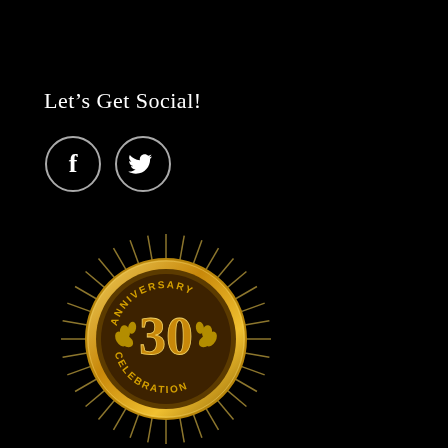Let's Get Social!
[Figure (illustration): Facebook and Twitter social media icons as outlined circles with white symbols on black background]
[Figure (logo): 30th Anniversary Celebration gold medallion badge with starburst rays, laurel wreaths, and the number 30 in ornate gold lettering]